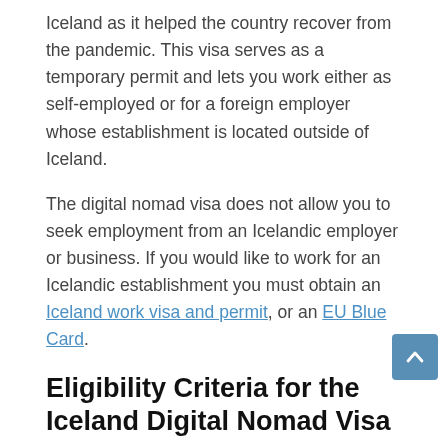Iceland as it helped the country recover from the pandemic. This visa serves as a temporary permit and lets you work either as self-employed or for a foreign employer whose establishment is located outside of Iceland.
The digital nomad visa does not allow you to seek employment from an Icelandic employer or business. If you would like to work for an Icelandic establishment you must obtain an Iceland work visa and permit, or an EU Blue Card.
Eligibility Criteria for the Iceland Digital Nomad Visa
An Icelandic remote working visa (digital nomad visa) can